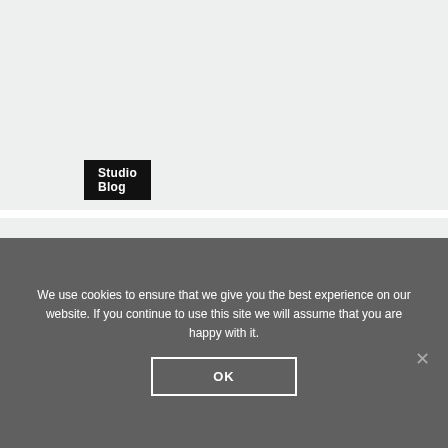Studio Blog
ELLEN
We use cookies to ensure that we give you the best experience on our website. If you continue to use this site we will assume that you are happy with it.
OK